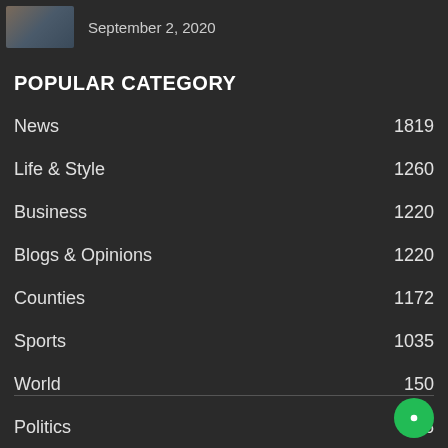September 2, 2020
POPULAR CATEGORY
News 1819
Life & Style 1260
Business 1220
Blogs & Opinions 1220
Counties 1172
Sports 1035
World 150
Politics 106